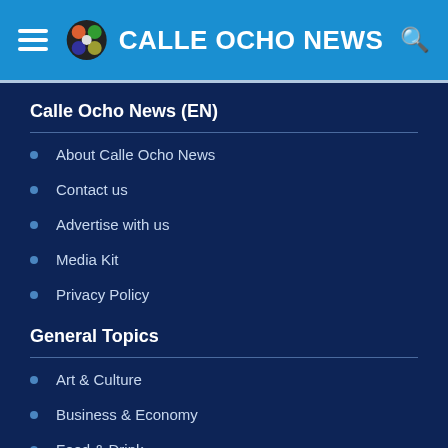CALLE OCHO NEWS
Calle Ocho News (EN)
About Calle Ocho News
Contact us
Advertise with us
Media Kit
Privacy Policy
General Topics
Art & Culture
Business & Economy
Food & Drink